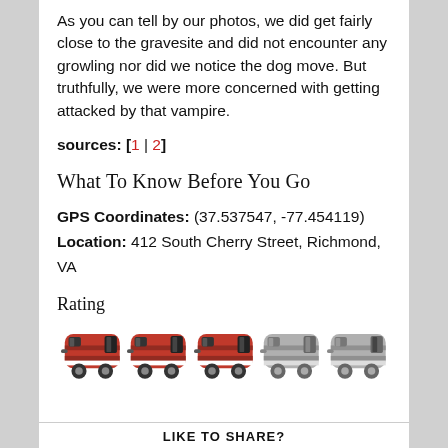As you can tell by our photos, we did get fairly close to the gravesite and did not encounter any growling nor did we notice the dog move. But truthfully, we were more concerned with getting attacked by that vampire.
sources: [1 | 2]
What To Know Before You Go
GPS Coordinates: (37.537547, -77.454119)
Location: 412 South Cherry Street, Richmond, VA
Rating
[Figure (illustration): Five camper/trailer icons in a row; three colored red/dark (active rating) and two gray (inactive rating)]
LIKE TO SHARE?